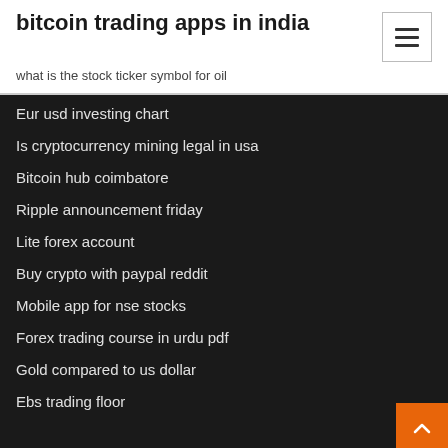bitcoin trading apps in india
what is the stock ticker symbol for oil
Eur usd investing chart
Is cryptocurrency mining legal in usa
Bitcoin hub coimbatore
Ripple announcement friday
Lite forex account
Buy crypto with paypal reddit
Mobile app for nse stocks
Forex trading course in urdu pdf
Gold compared to us dollar
Ebs trading floor